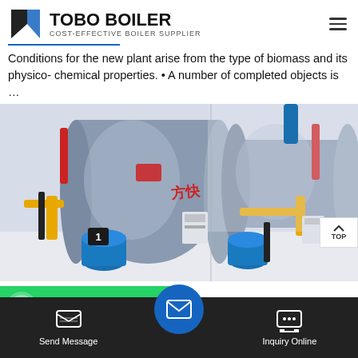TOBO BOILER — COST-EFFECTIVE BOILER SUPPLIER
Conditions for the new plant arise from the type of biomass and its physico- chemical properties. • A number of completed objects is …
[Figure (photo): Industrial boiler room with large cylindrical boilers (silver/grey) with Chinese text 方快 and brand markings, yellow and red piping, blue cylindrical components at bottom, multiple units visible in a white-floored plant room.]
WhatsApp
k  e fr
Send Message
Inquiry Online